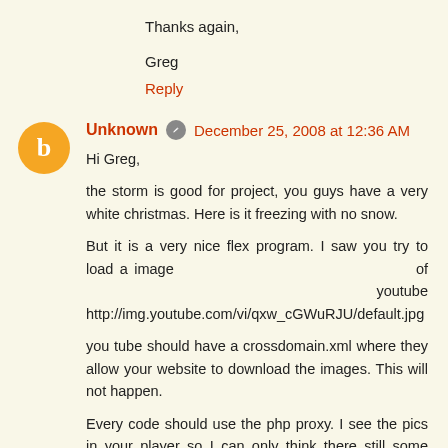Thanks again,
Greg
Reply
Unknown  December 25, 2008 at 12:36 AM
Hi Greg,

the storm is good for project, you guys have a very white christmas. Here is it freezing with no snow.

But it is a very nice flex program. I saw you try to load a image of youtube http://img.youtube.com/vi/qxw_cGWuRJU/default.jpg

you tube should have a crossdomain.xml where they allow your website to download the images. This will not happen.

Every code should use the php proxy. I see the pics in your player so I can only think there still some code which does